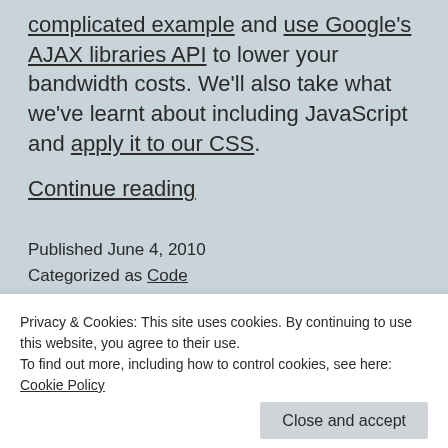complicated example and use Google's AJAX libraries API to lower your bandwidth costs. We'll also take what we've learnt about including JavaScript and apply it to our CSS.
Continue reading
Published June 4, 2010
Categorized as Code
T
Privacy & Cookies: This site uses cookies. By continuing to use this website, you agree to their use. To find out more, including how to control cookies, see here: Cookie Policy
Close and accept